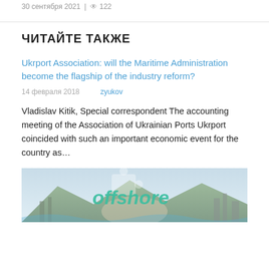30 сентября 2021 | 👁 122
ЧИТАЙТЕ ТАКЖЕ
Ukrport Association: will the Maritime Administration become the flagship of the industry reform?
14 февраля 2018   zyukov
Vladislav Kitik, Special correspondent The accounting meeting of the Association of Ukrainian Ports Ukrport coincided with such an important economic event for the country as…
[Figure (photo): Offshore sign/logo image with harbor/port background showing mountains and industrial structures]